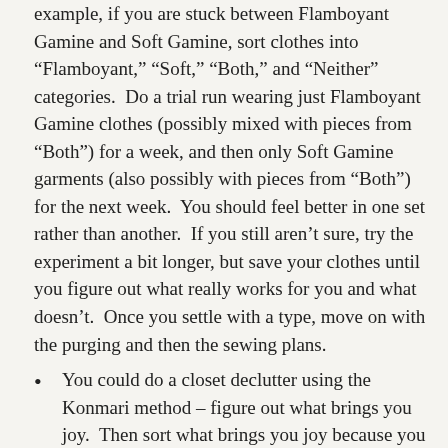example, if you are stuck between Flamboyant Gamine and Soft Gamine, sort clothes into "Flamboyant," "Soft," "Both," and "Neither" categories. Do a trial run wearing just Flamboyant Gamine clothes (possibly mixed with pieces from "Both") for a week, and then only Soft Gamine garments (also possibly with pieces from "Both") for the next week. You should feel better in one set rather than another. If you still aren't sure, try the experiment a bit longer, but save your clothes until you figure out what really works for you and what doesn't. Once you settle with a type, move on with the purging and then the sewing plans.
You could do a closet declutter using the Konmari method – figure out what brings you joy. Then sort what brings you joy because you love to wear it in a different pile from things that bring you joy for other reasons (for example, I have an old Burda dress I can't bear to part with because I'm still so proud of how I sewed it, but I can't really wear it anymore because it is too small). I'm pretty